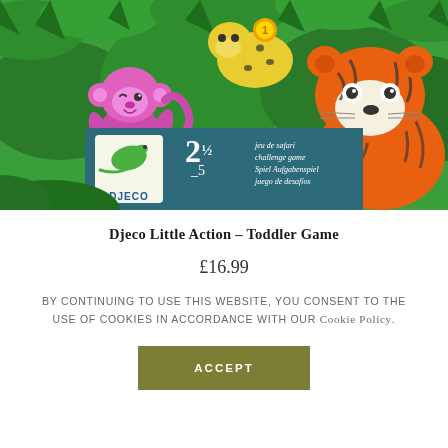[Figure (illustration): Colorful children's toy game box illustration showing cartoon jungle animals: a pink monkey winking, a yellow leopard with medal, and a large orange tiger on a green jungle background. Bottom band shows DJECO logo, age range 2½-5, and multilingual text about safari challenge game.]
Djeco Little Action – Toddler Game
£16.99
By continuing to use this website, you consent to the use of cookies in accordance with our Cookie Policy.
ACCEPT